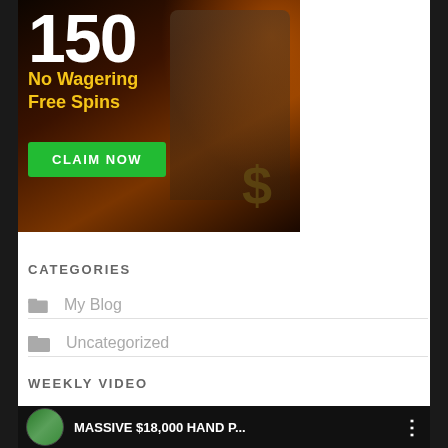[Figure (illustration): Casino advertisement banner showing '150 No Wagering Free Spins' with a CLAIM NOW button in green and a character holding a weapon on a dark fiery background]
CATEGORIES
My Blog
Uncategorized
WEEKLY VIDEO
[Figure (screenshot): YouTube video thumbnail showing a woman avatar and the title 'MASSIVE $18,000 HAND P...' with a three-dot menu icon on a dark background]